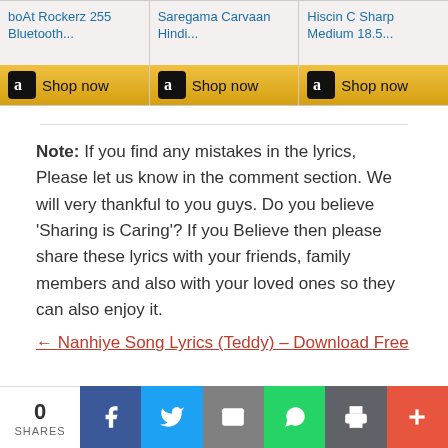[Figure (screenshot): Amazon affiliate ad strip with three products: boAt Rockerz 255 Bluetooth..., Saregama Carvaan Hindi..., Hiscin C Sharp Medium 18.5... Each with a golden 'Shop now' button with Amazon logo.]
Note: If you find any mistakes in the lyrics, Please let us know in the comment section. We will very thankful to you guys. Do you believe 'Sharing is Caring'? If you Believe then please share these lyrics with your friends, family members and also with your loved ones so they can also enjoy it.
← Nanhiye Song Lyrics (Teddy) – Download Free
[Figure (screenshot): Social share bar at the bottom showing 0 SHARES, with Facebook (blue), Twitter (light blue), Email (gray), WhatsApp (green), Print (dark gray), and Plus (orange-red) buttons.]